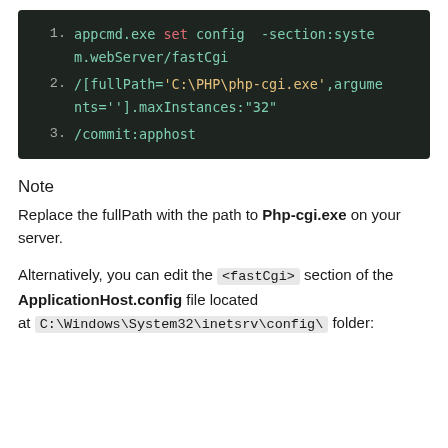[Figure (screenshot): Code block with dark background showing 3 lines of appcmd.exe command: line 1: appcmd.exe set config -section:system.webServer/fastCgi, line 2: /[fullPath='C:\PHP\php-cgi.exe',arguments=''].maxInstances:"32", line 3: /commit:apphost]
Note
Replace the fullPath with the path to Php-cgi.exe on your server.
Alternatively, you can edit the <fastCgi> section of the ApplicationHost.config file located at C:\Windows\System32\inetsrv\config\ folder: